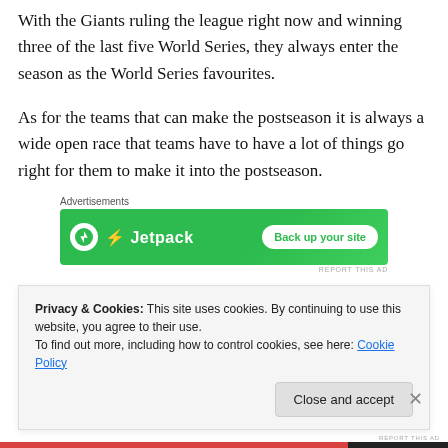With the Giants ruling the league right now and winning three of the last five World Series, they always enter the season as the World Series favourites.
As for the teams that can make the postseason it is always a wide open race that teams have to have a lot of things go right for them to make it into the postseason.
[Figure (other): Jetpack advertisement banner with green background showing Jetpack logo and 'Back up your site' button]
After last year every team has a little more hope with the
Privacy & Cookies: This site uses cookies. By continuing to use this website, you agree to their use.
To find out more, including how to control cookies, see here: Cookie Policy